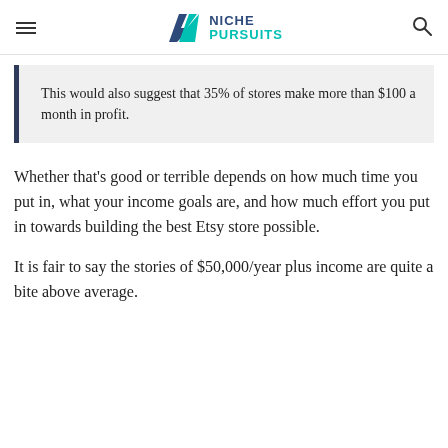NICHE PURSUITS
This would also suggest that 35% of stores make more than $100 a month in profit.
Whether that's good or terrible depends on how much time you put in, what your income goals are, and how much effort you put in towards building the best Etsy store possible.
It is fair to say the stories of $50,000/year plus income are quite a bite above average.